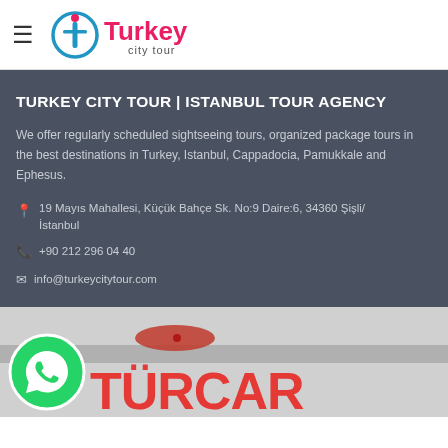Turkey City Tour logo header with hamburger menu
TURKEY CITY TOUR | ISTANBUL TOUR AGENCY
We offer regularly scheduled sightseeing tours, organized package tours in the best destinations in Turkey, Istanbul, Cappadocia, Pamukkale and Ephesus.
19 Mayıs Mahallesi, Küçük Bahçe Sk. No:9 Daire:6, 34360 Şişli/İstanbul
+90 212 296 04 40
info@turkeycitytour.com
[Figure (screenshot): Bottom section showing WhatsApp green chat button icon on the left and partial TÜRCAR logo/text in red on white/grey background]